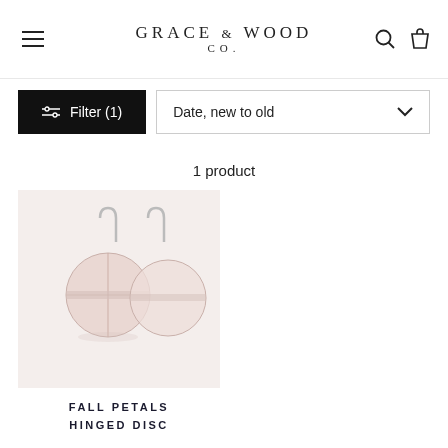GRACE & WOOD CO.
Filter (1)
Date, new to old
1 product
[Figure (photo): Product photo of Fall Petals Hinged Disc earrings — round disc earrings with petal pattern in blush/rose color on a light gray background]
FALL PETALS HINGED DISC